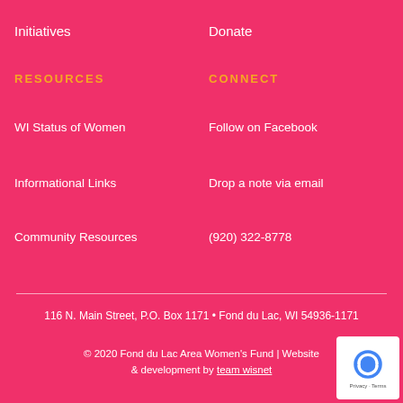Initiatives
Donate
RESOURCES
CONNECT
WI Status of Women
Follow on Facebook
Informational Links
Drop a note via email
Community Resources
(920) 322-8778
116 N. Main Street, P.O. Box 1171 • Fond du Lac, WI 54936-1171
© 2020 Fond du Lac Area Women's Fund | Website & development by team wisnet